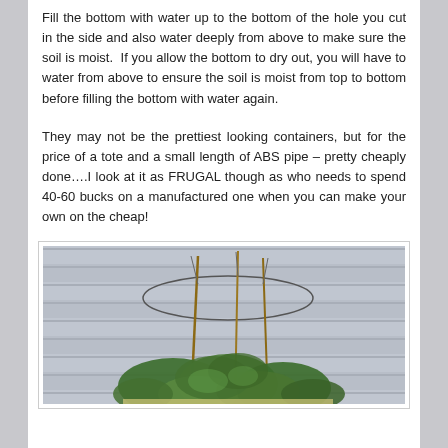Fill the bottom with water up to the bottom of the hole you cut in the side and also water deeply from above to make sure the soil is moist. If you allow the bottom to dry out, you will have to water from above to ensure the soil is moist from top to bottom before filling the bottom with water again.
They may not be the prettiest looking containers, but for the price of a tote and a small length of ABS pipe – pretty cheaply done….I look at it as FRUGAL though as who needs to spend 40-60 bucks on a manufactured one when you can make your own on the cheap!
[Figure (photo): A tomato plant with a wire cage/ring support, growing against a light grey house siding background. The plant has green leafy growth at the bottom and thin wooden stakes with wire rings going up above.]